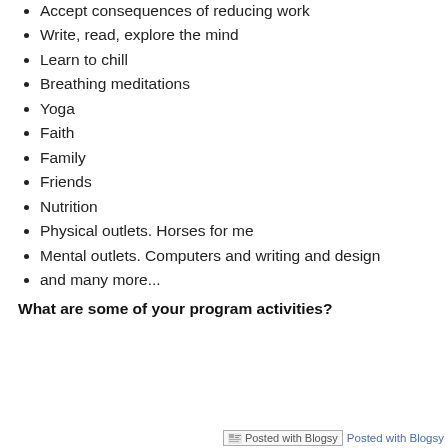Accept consequences of reducing work
Write, read, explore the mind
Learn to chill
Breathing meditations
Yoga
Faith
Family
Friends
Nutrition
Physical outlets. Horses for me
Mental outlets. Computers and writing and design
and many more...
What are some of your program activities?
Posted with Blogsy  Posted with Blogsy